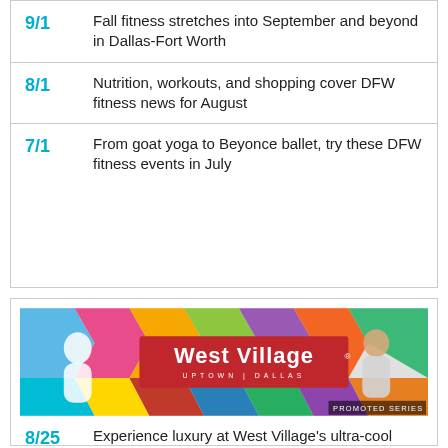9/1 Fall fitness stretches into September and beyond in Dallas-Fort Worth
8/1 Nutrition, workouts, and shopping cover DFW fitness news for August
7/1 From goat yoga to Beyonce ballet, try these DFW fitness events in July
[Figure (photo): West Village Uptown Dallas advertisement banner with colorful geometric background and two people posing, with 'PROMOTED SERIES' label]
8/25 Experience luxury at West Village's ultra-cool new watch boutique